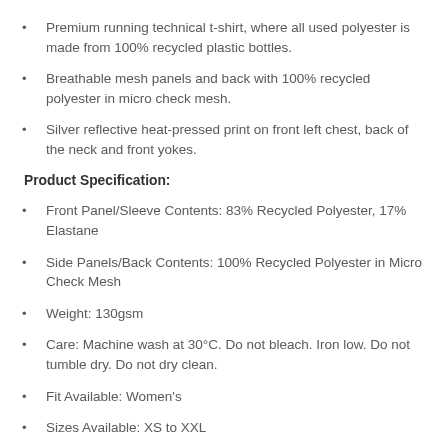Premium running technical t-shirt, where all used polyester is made from 100% recycled plastic bottles.
Breathable mesh panels and back with 100% recycled polyester in micro check mesh.
Silver reflective heat-pressed print on front left chest, back of the neck and front yokes.
Product Specification:
Front Panel/Sleeve Contents: 83% Recycled Polyester, 17% Elastane
Side Panels/Back Contents: 100% Recycled Polyester in Micro Check Mesh
Weight: 130gsm
Care: Machine wash at 30°C. Do not bleach. Iron low. Do not tumble dry. Do not dry clean.
Fit Available: Women's
Sizes Available: XS to XXL